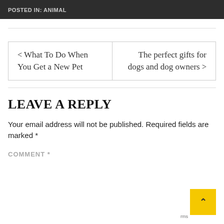POSTED IN: ANIMAL
What To Do When You Get a New Pet
The perfect gifts for dogs and dog owners
LEAVE A REPLY
Your email address will not be published. Required fields are marked *
COMMENT *